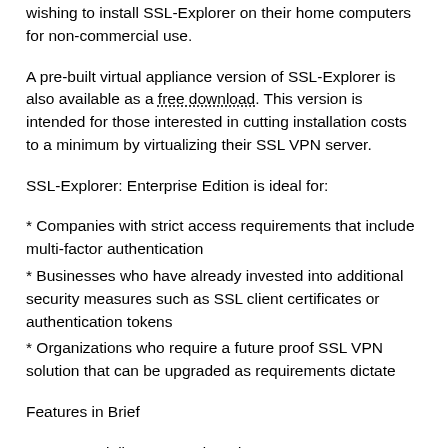wishing to install SSL-Explorer on their home computers for non-commercial use.
A pre-built virtual appliance version of SSL-Explorer is also available as a free download. This version is intended for those interested in cutting installation costs to a minimum by virtualizing their SSL VPN server.
SSL-Explorer: Enterprise Edition is ideal for:
* Companies with strict access requirements that include multi-factor authentication
* Businesses who have already invested into additional security measures such as SSL client certificates or authentication tokens
* Organizations who require a future proof SSL VPN solution that can be upgraded as requirements dictate
Features in Brief
# Commercially supported product
# Enhanced Authentication Modules
# IPSec-like VPN experience using SSL-Explorer nEXT technology